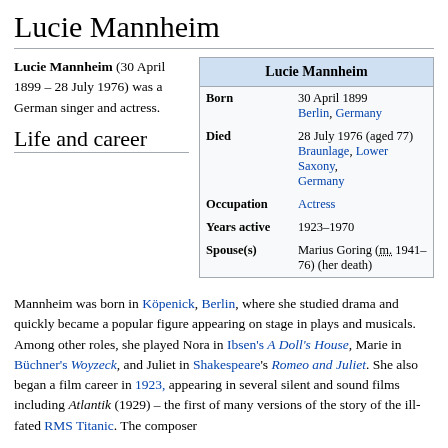Lucie Mannheim
| Field | Value |
| --- | --- |
| Born | 30 April 1899
Berlin, Germany |
| Died | 28 July 1976 (aged 77)
Braunlage, Lower Saxony, Germany |
| Occupation | Actress |
| Years active | 1923–1970 |
| Spouse(s) | Marius Goring (m. 1941–76) (her death) |
Lucie Mannheim (30 April 1899 – 28 July 1976) was a German singer and actress.
Life and career
Mannheim was born in Köpenick, Berlin, where she studied drama and quickly became a popular figure appearing on stage in plays and musicals. Among other roles, she played Nora in Ibsen's A Doll's House, Marie in Büchner's Woyzeck, and Juliet in Shakespeare's Romeo and Juliet. She also began a film career in 1923, appearing in several silent and sound films including Atlantik (1929) – the first of many versions of the story of the ill-fated RMS Titanic. The composer